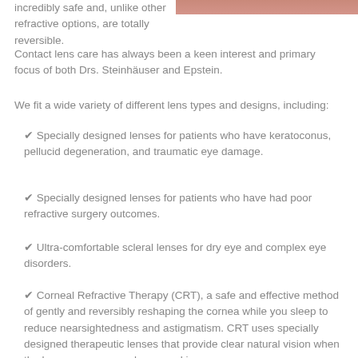[Figure (photo): Partial view of a person's face or eye area, cropped at top of page on the right side]
incredibly safe and, unlike other refractive options, are totally reversible.
Contact lens care has always been a keen interest and primary focus of both Drs. Steinhäuser and Epstein.
We fit a wide variety of different lens types and designs, including:
✔ Specially designed lenses for patients who have keratoconus, pellucid degeneration, and traumatic eye damage.
✔ Specially designed lenses for patients who have had poor refractive surgery outcomes.
✔ Ultra-comfortable scleral lenses for dry eye and complex eye disorders.
✔ Corneal Refractive Therapy (CRT), a safe and effective method of gently and reversibly reshaping the cornea while you sleep to reduce nearsightedness and astigmatism. CRT uses specially designed therapeutic lenses that provide clear natural vision when the lenses are removed upon waking.